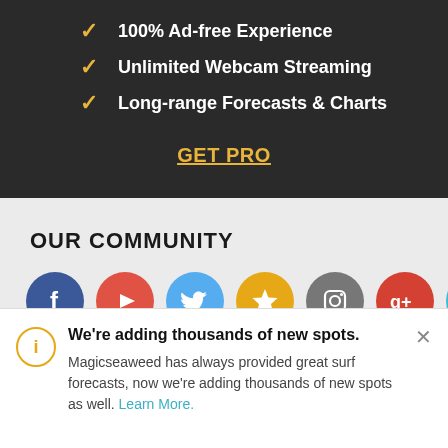100% Ad-free Experience
Unlimited Webcam Streaming
Long-range Forecasts & Charts
GET PRO
OUR COMMUNITY
[Figure (infographic): Row of social media and community icons: Facebook (blue), YouTube (red-orange), Twitter (light blue), Star/Favorites (yellow), Instagram (gray), Google+ (red), Shopping cart (light blue)]
HIDE ADVERTS PRO
We're adding thousands of new spots. Magicseaweed has always provided great surf forecasts, now we're adding thousands of new spots as well. Learn More.